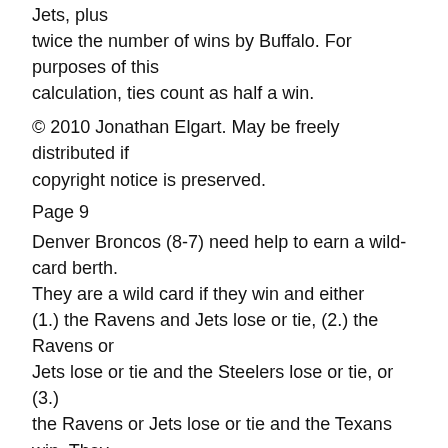Jets, plus twice the number of wins by Buffalo. For purposes of this calculation, ties count as half a win.
© 2010 Jonathan Elgart. May be freely distributed if copyright notice is preserved.
Page 9
Denver Broncos (8-7) need help to earn a wild-card berth. They are a wild card if they win and either (1.) the Ravens and Jets lose or tie, (2.) the Ravens or Jets lose or tie and the Steelers lose or tie, or (3.) the Ravens or Jets lose or tie and the Texans win. They will be 5th seed if the Ravens, Jets, and Steelers all lose or tie, or if the Ravens and Jets both lose or tie and the Texans win. Otherwise they will be 6th seed. They are eliminated if the Ravens and Jets both win, or if the Steelers win and either the Ravens or Jets win and the Texans lose or tie.